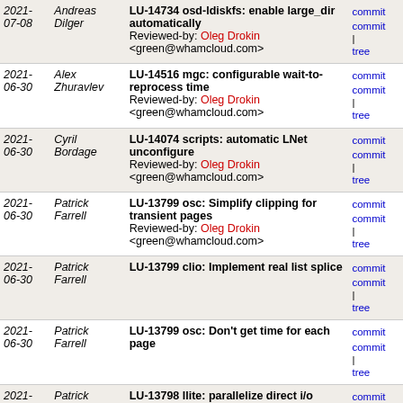| Date | Author | Commit message | Links |
| --- | --- | --- | --- |
| 2021-07-08 | Andreas Dilger | LU-14734 osd-ldiskfs: enable large_dir automatically
Reviewed-by: Oleg Drokin <green@whamcloud.com> | commit | commit | tree |
| 2021-06-30 | Alex Zhuravlev | LU-14516 mgc: configurable wait-to-reprocess time
Reviewed-by: Oleg Drokin <green@whamcloud.com> | commit | commit | tree |
| 2021-06-30 | Cyril Bordage | LU-14074 scripts: automatic LNet unconfigure
Reviewed-by: Oleg Drokin <green@whamcloud.com> | commit | commit | tree |
| 2021-06-30 | Patrick Farrell | LU-13799 osc: Simplify clipping for transient pages
Reviewed-by: Oleg Drokin <green@whamcloud.com> | commit | commit | tree |
| 2021-06-30 | Patrick Farrell | LU-13799 clio: Implement real list splice | commit | commit | tree |
| 2021-06-30 | Patrick Farrell | LU-13799 osc: Don't get time for each page | commit | commit | tree |
| 2021-06-30 | Patrick Farrell | LU-13798 llite: parallelize direct i/o issuance
Reviewed-by: Oleg Drokin <green@whamcloud.com> | commit | commit | tree |
| 2021-06-30 | James Simmons | LU-9680 utils: add netlink infrastructure
Reviewed-by: Oleg Drokin <green@whamcloud.com> | commit | commit | tree |
| 2021- | James Nunez | LU-13716 tests: skip sanity 205b for | commit |